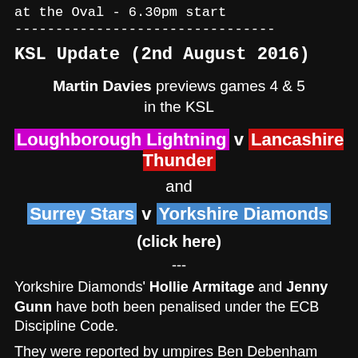at the Oval - 6.30pm start
--------------------------------
KSL Update (2nd August 2016)
Martin Davies previews games 4 & 5 in the KSL
Loughborough Lightning v Lancashire Thunder
and
Surrey Stars v Yorkshire Diamonds
(click here)
---
Yorkshire Diamonds' Hollie Armitage and Jenny Gunn have both been penalised under the ECB Discipline Code.
They were reported by umpires Ben Debenham and Tom